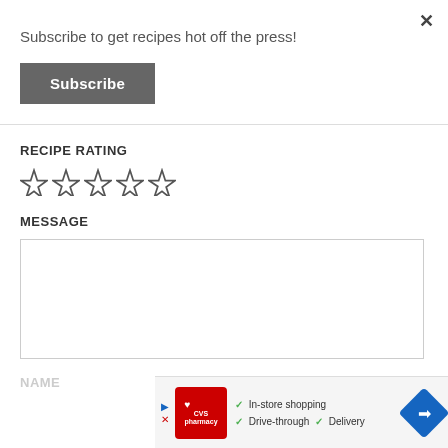Subscribe to get recipes hot off the press!
Subscribe
RECIPE RATING
[Figure (other): Five empty star rating icons]
MESSAGE
[Figure (other): Empty message text area input box]
NAME
[Figure (other): CVS Pharmacy advertisement banner showing In-store shopping, Drive-through, and Delivery options with navigation arrow icon]